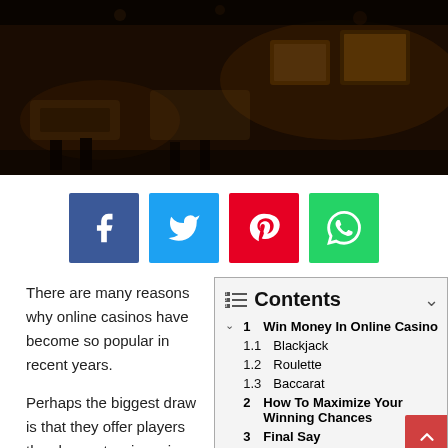[Figure (photo): Dark casino interior photo showing gaming tables and screens with dim orange/amber lighting]
[Figure (infographic): Social media sharing buttons: Facebook (blue), Twitter (cyan), Pinterest (red), WhatsApp (green)]
There are many reasons why online casinos have become so popular in recent years.
Perhaps the biggest draw is that they offer players the chance to win serious money
| # | Contents |
| --- | --- |
| 1 | Win Money In Online Casino |
| 1.1 | Blackjack |
| 1.2 | Roulette |
| 1.3 | Baccarat |
| 2 | How To Maximize Your Winning Chances |
| 3 | Final Say |